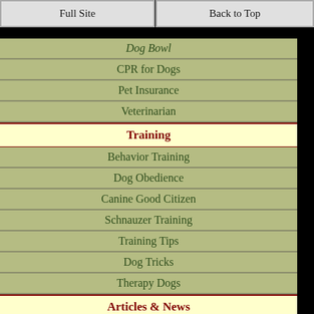Full Site
Back to Top
Dog Bowl (partial, cut off)
CPR for Dogs
Pet Insurance
Veterinarian
Training
Behavior Training
Dog Obedience
Canine Good Citizen
Schnauzer Training
Training Tips
Dog Tricks
Therapy Dogs
Articles & News
Responsible Owner
Ready for a Dog?
Dog Microchip
Lost Dog